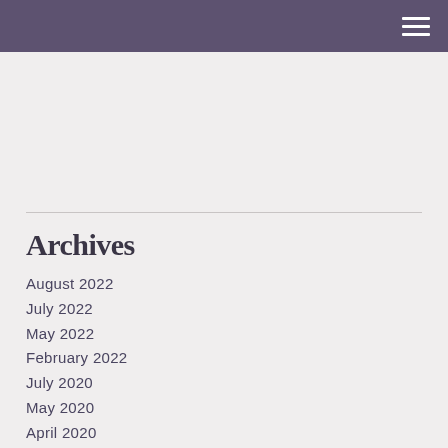Archives
August 2022
July 2022
May 2022
February 2022
July 2020
May 2020
April 2020
March 2020
February 2020